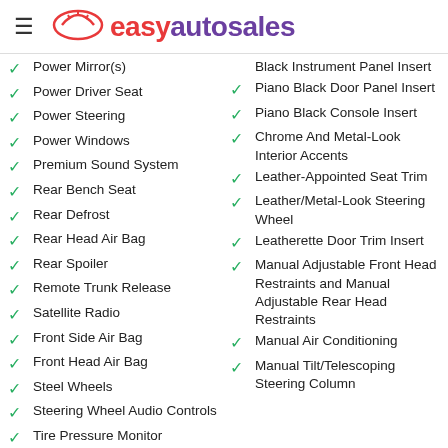easyautosales
Power Mirror(s)
Power Driver Seat
Power Steering
Power Windows
Premium Sound System
Rear Bench Seat
Rear Defrost
Rear Head Air Bag
Rear Spoiler
Remote Trunk Release
Satellite Radio
Front Side Air Bag
Front Head Air Bag
Steel Wheels
Steering Wheel Audio Controls
Tire Pressure Monitor
Tires - Front
Black Instrument Panel Insert
Piano Black Door Panel Insert
Piano Black Console Insert
Chrome And Metal-Look Interior Accents
Leather-Appointed Seat Trim
Leather/Metal-Look Steering Wheel
Leatherette Door Trim Insert
Manual Adjustable Front Head Restraints and Manual Adjustable Rear Head Restraints
Manual Air Conditioning
Manual Tilt/Telescoping Steering Column